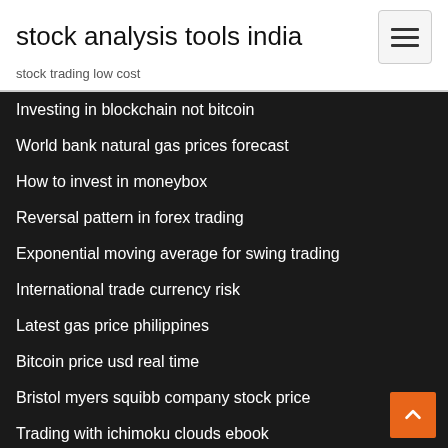stock analysis tools india
stock trading low cost
Investing in blockchain not bitcoin
World bank natural gas prices forecast
How to invest in moneybox
Reversal pattern in forex trading
Exponential moving average for swing trading
International trade currency risk
Latest gas price philippines
Bitcoin price usd real time
Bristol myers squibb company stock price
Trading with ichimoku clouds ebook